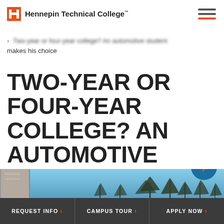Hennepin Technical College
Two-year or four-year college? An automotive student makes his choice
TWO-YEAR OR FOUR-YEAR COLLEGE? AN AUTOMOTIVE STUDENT MAKES HIS CHOICE
[Figure (photo): Exterior photo of a building with blue sky and bare winter trees in background]
REQUEST INFO   CAMPUS TOUR   APPLY NOW